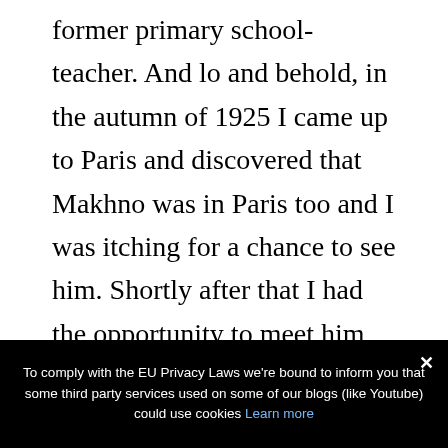former primary school-teacher. And lo and behold, in the autumn of 1925 I came up to Paris and discovered that Makhno was in Paris too and I was itching for a chance to see him. Shortly after that I had the opportunity to meet him, in the tiny hotel room where he was living with his wife and child. I came away with an impression that was the complete opposite of what I had previously imagined: he was short, sickly looking, the
To comply with the EU Privacy Laws we're bound to inform you that some third party services used on some of our blogs (like Youtube) could use cookies Learn more